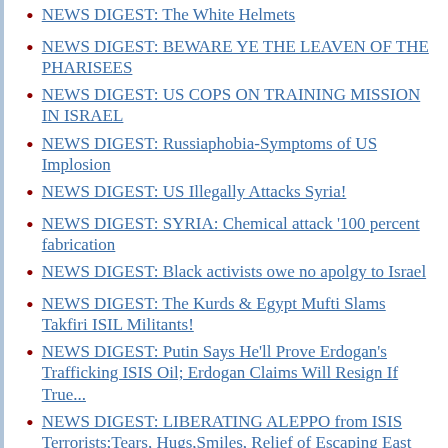NEWS DIGEST: The White Helmets
NEWS DIGEST: BEWARE YE THE LEAVEN OF THE PHARISEES
NEWS DIGEST: US COPS ON TRAINING MISSION IN ISRAEL
NEWS DIGEST: Russiaphobia-Symptoms of US Implosion
NEWS DIGEST: US Illegally Attacks Syria!
NEWS DIGEST: SYRIA: Chemical attack '100 percent fabrication
NEWS DIGEST: Black activists owe no apolgy to Israel
NEWS DIGEST: The Kurds & Egypt Mufti Slams Takfiri ISIL Militants!
NEWS DIGEST: Putin Says He'll Prove Erdogan's Trafficking ISIS Oil; Erdogan Claims Will Resign If True...
NEWS DIGEST: LIBERATING ALEPPO from ISIS Terrorists;Tears, Hugs,Smiles, Relief of Escaping East Aleppo
NEWS DIGEST: Assad is a victim of a false flag from CIA